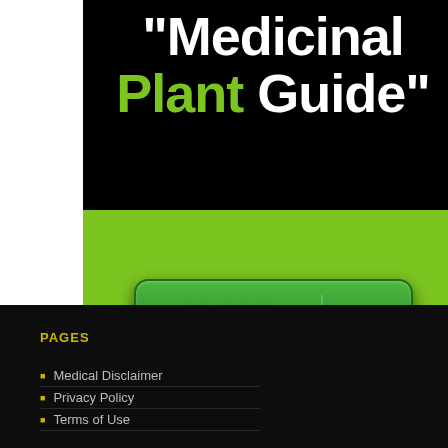[Figure (illustration): Medicinal Plant Guide banner with black background, large white and green bold text reading '"Medicinal Plant Guide"', a lime-green section with a dark green 'CLICK HERE' button featuring an upward arrow icon, and a black bottom bar.]
PAGES
Medical Disclaimer
Privacy Policy
Terms of Use